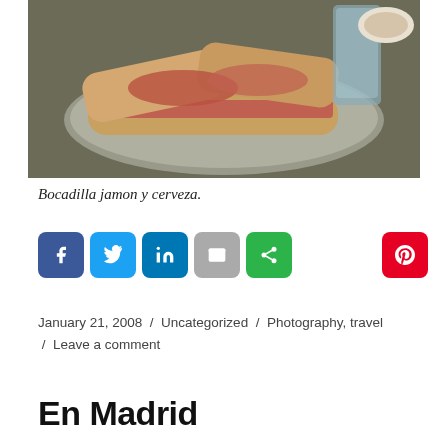[Figure (photo): Photo of bocadilla (ham sandwich) on a metal tray with a glass of beer on a restaurant table]
Bocadilla jamon y cerveza.
[Figure (infographic): Social share buttons: Facebook, Twitter, LinkedIn, Email, Share, Pinterest]
January 21, 2008 / Uncategorized / Photography, travel / Leave a comment
En Madrid